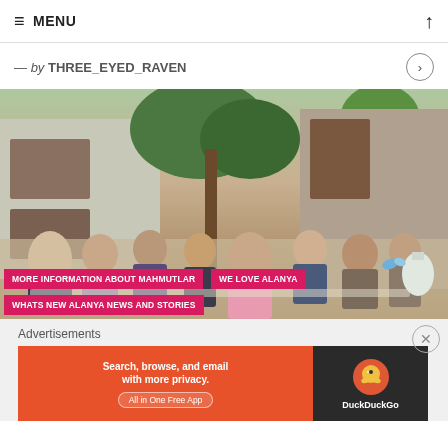≡ MENU
— by THREE_EYED_RAVEN
[Figure (photo): Group of people sitting at outdoor tables in a courtyard, eating together. Stone and wooden building with plants in the background.]
MORE INFORMATION ABOUT MAHMUTLAR
WE LOVE ALANYA
WHATS NEW ALANYA NEWS AND STORIES
Advertisements
[Figure (screenshot): DuckDuckGo advertisement banner: 'Search, browse, and email with more privacy. All in One Free App' with DuckDuckGo logo on dark background.]